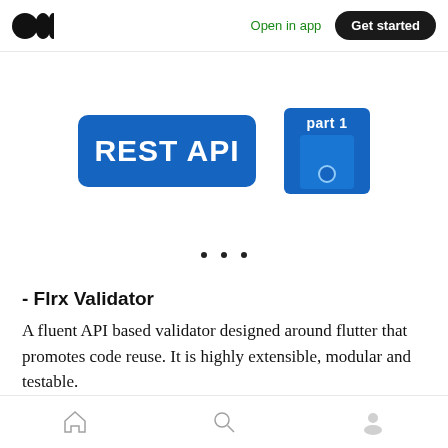Open in app   Get started
[Figure (illustration): REST API blue badge and a blue floppy disk icon with 'part 1' label]
. . .
- Flrx Validator
A fluent API based validator designed around flutter that promotes code reuse. It is highly extensible, modular and testable.
[Figure (screenshot): Partial view of a chart or illustration at the bottom of the page]
Home  Search  Profile